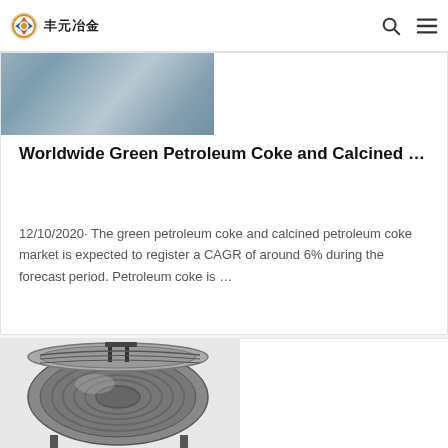丰元冶金
[Figure (photo): Partially visible image of industrial machinery/vehicles in snowy/grey outdoor setting]
Worldwide Green Petroleum Coke and Calcined …
12/10/2020· The green petroleum coke and calcined petroleum coke market is expected to register a CAGR of around 6% during the forecast period. Petroleum coke is …
[Figure (photo): A large coil/spool of wire or metal rod product, dark grey metallic color, industrial product photo]